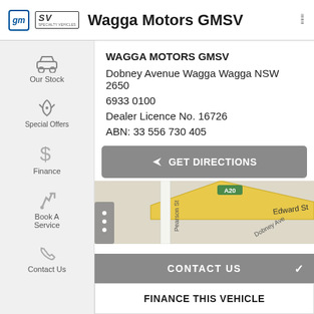Wagga Motors GMSV
WAGGA MOTORS GMSV
Dobney Avenue Wagga Wagga NSW 2650
6933 0100
Dealer Licence No. 16726
ABN: 33 556 730 405
GET DIRECTIONS
[Figure (map): Street map showing Pearson St, Edward St, Dobney Ave, and highway A20 in Wagga Wagga NSW]
CONTACT US
FINANCE THIS VEHICLE